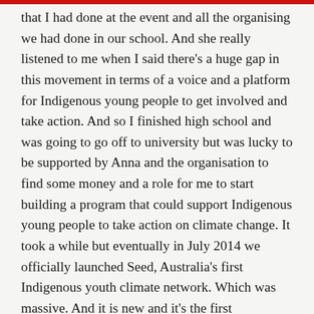that I had done at the event and all the organising we had done in our school. And she really listened to me when I said there's a huge gap in this movement in terms of a voice and a platform for Indigenous young people to get involved and take action. And so I finished high school and was going to go off to university but was lucky to be supported by Anna and the organisation to find some money and a role for me to start building a program that could support Indigenous young people to take action on climate change. It took a while but eventually in July 2014 we officially launched Seed, Australia's first Indigenous youth climate network. Which was massive. And it is new and it's the first “network,” but